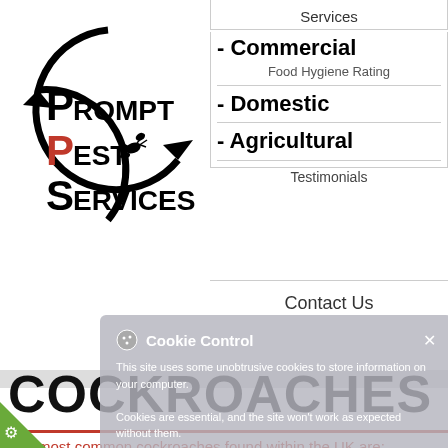[Figure (logo): Prompt Pest Services circular logo with ant illustration]
Services
- Commercial
Food Hygiene Rating
- Domestic
- Agricultural
Testimonials
Contact Us
[Figure (screenshot): Cookie Control overlay with title, descriptive text, button and read more link]
COCKROACHES
The most common cockroaches found within the UK are: